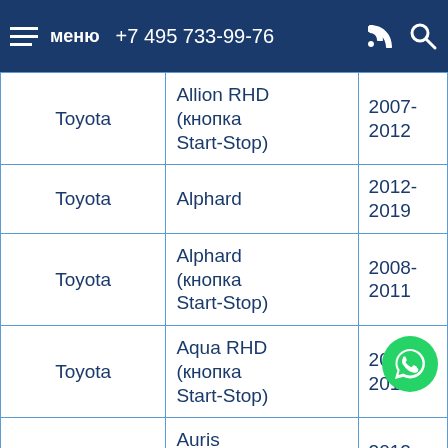меню  +7 495 733-99-76
| Make | Model | Years |
| --- | --- | --- |
| Toyota | Allion RHD (кнопка Start-Stop) | 2007-2012 |
| Toyota | Alphard | 2012-2019 |
| Toyota | Alphard (кнопка Start-Stop) | 2008-2011 |
| Toyota | Aqua RHD (кнопка Start-Stop) | 2011-2014 |
| Toyota | Auris (кнопка Start-Stop) | 2012-2019 |
| Toyota | Auris RHD (кнопка | 2007-2011 |